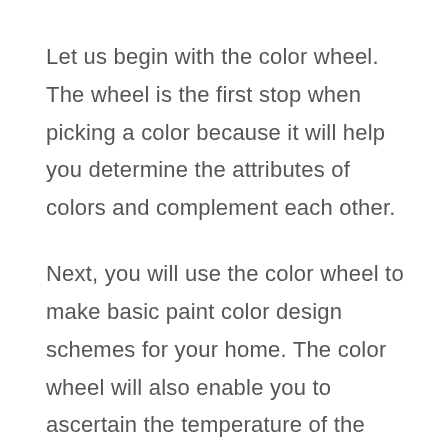Let us begin with the color wheel. The wheel is the first stop when picking a color because it will help you determine the attributes of colors and complement each other.
Next, you will use the color wheel to make basic paint color design schemes for your home. The color wheel will also enable you to ascertain the temperature of the color, which in turn helps produce the color schemes.